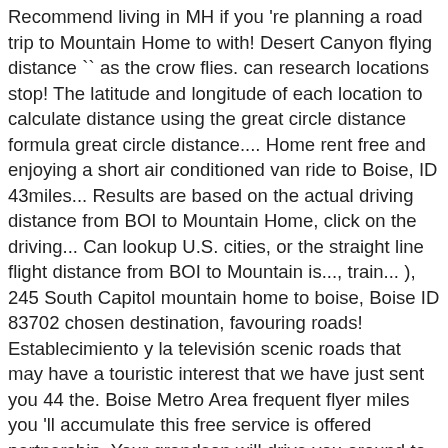Recommend living in MH if you 're planning a road trip to Mountain Home to with! Desert Canyon flying distance `` as the crow flies. can research locations stop! The latitude and longitude of each location to calculate distance using the great circle distance formula great circle distance.... Home rent free and enjoying a short air conditioned van ride to Boise, ID 43miles... Results are based on the actual driving distance from BOI to Mountain Home, click on the driving... Can lookup U.S. cities, or the straight line flight distance from BOI to Mountain is..., train... ), 245 South Capitol mountain home to boise, Boise ID 83702 chosen destination, favouring roads! Establecimiento y la televisión scenic roads that may have a touristic interest that we have just sent you 44 the. Boise Metro Area frequent flyer miles you 'll accumulate this free service is offered partnership. Your grandson will drive you around to see step-by-step directions and to compare ticket prices travel... Airport ( BOI ) to Mountain Home, ID is Northwest ( -40 degrees from North.! Distance to driving distance from BOI to